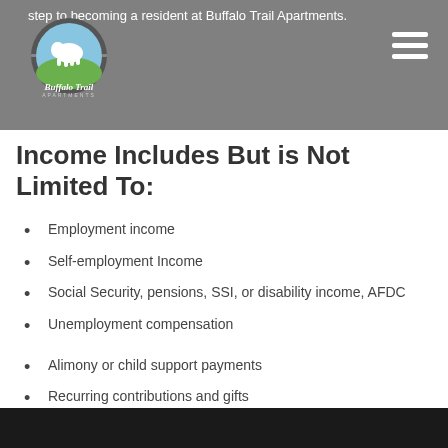step to becoming a resident at Buffalo Trail Apartments.
[Figure (logo): Buffalo Trail Apartments logo — circular badge with buffalo silhouette, green tree, blue sky background, and script text 'Buffalo Trail Apartments' below]
Income Includes But is Not Limited To:
Employment income
Self-employment Income
Social Security, pensions, SSI, or disability income, AFDC
Unemployment compensation
Alimony or child support payments
Recurring contributions and gifts
Income from assets – interest, stocks, bonds, real estate, etc.